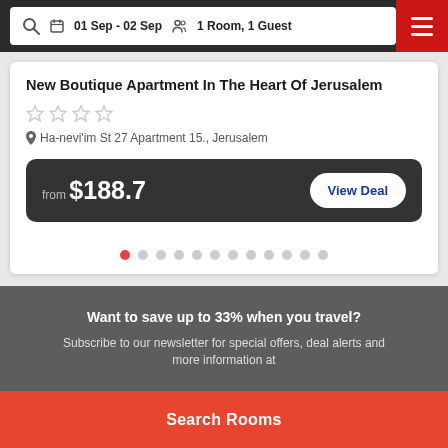01 Sep - 02 Sep  1 Room, 1 Guest
New Boutique Apartment In The Heart Of Jerusalem
Ha-nevi'im St 27 Apartment 15., Jerusalem
from $188.7
View Deal
Want to save up to 33% when you travel?
Subscribe to our newsletter for special offers, deal alerts and
Search Rooms